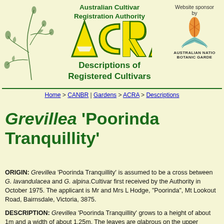Australian Cultivar Registration Authority
[Figure (logo): ACRA yellow and green triangular logo with text ACRA]
[Figure (illustration): Botanical line drawing of a plant branch with seed pods]
[Figure (logo): Australian National Botanic Gardens logo with orange flower and teal leaves, Website sponsored by]
Descriptions of Registered Cultivars
Home > CANBR | Gardens > ACRA > Descriptions
Grevillea 'Poorinda Tranquillity'
ORIGIN: Grevillea 'Poorinda Tranquillity' is assumed to be a cross between G. lavandulacea and G. alpina.Cultivar first received by the Authority in October 1975. The applicant is Mr and Mrs L Hodge, "Poorinda", Mt Lookout Road, Bairnsdale, Victoria, 3875.
DESCRIPTION: Grevillea 'Poorinda Tranquillity' grows to a height of about 1m and a width of about 1.25m. The leaves are glabrous on the upper surface with a sparse covering of silvery hairs on the lower surface.